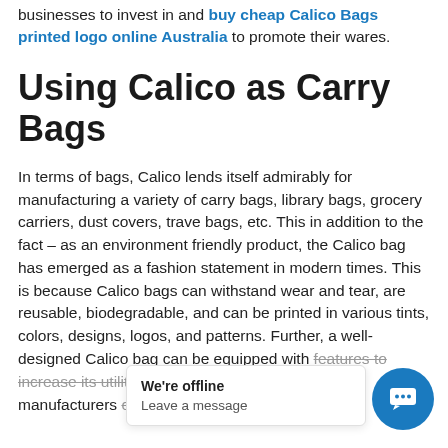businesses to invest in and buy cheap Calico Bags printed logo online Australia to promote their wares.
Using Calico as Carry Bags
In terms of bags, Calico lends itself admirably for manufacturing a variety of carry bags, library bags, grocery carriers, dust covers, trave bags, etc. This in addition to the fact – as an environment friendly product, the Calico bag has emerged as a fashion statement in modern times. This is because Calico bags can withstand wear and tear, are reusable, biodegradable, and can be printed in various tints, colors, designs, logos, and patterns. Further, a well-designed Calico bag can be equipped with [features] to increase its utility in the everyday [life] and many manufacturers choose to print these bags with